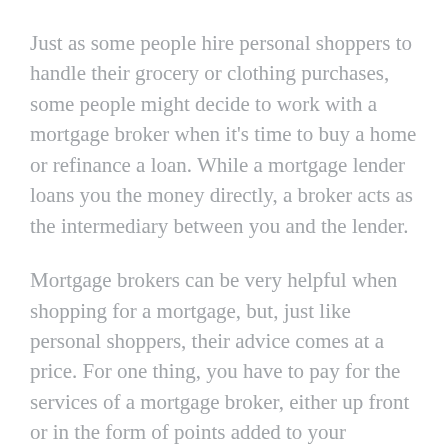Just as some people hire personal shoppers to handle their grocery or clothing purchases, some people might decide to work with a mortgage broker when it's time to buy a home or refinance a loan. While a mortgage lender loans you the money directly, a broker acts as the intermediary between you and the lender.
Mortgage brokers can be very helpful when shopping for a mortgage, but, just like personal shoppers, their advice comes at a price. For one thing, you have to pay for the services of a mortgage broker, either up front or in the form of points added to your mortgage.
Unscrupulous brokers also played a part in